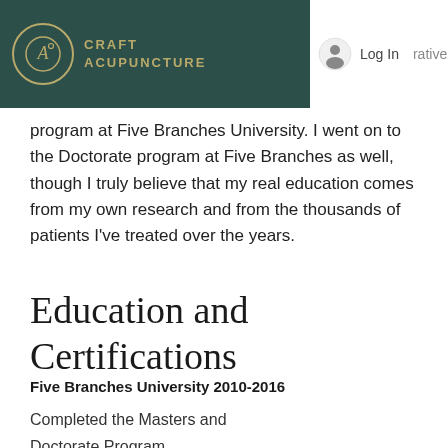CRAFT ACUPUNCTURE  Log In  rative
program at Five Branches University. I went on to the Doctorate program at Five Branches as well, though I truly believe that my real education comes from my own research and from the thousands of patients I've treated over the years.
Education and Certifications
Five Branches University 2010-2016
Completed the Masters and Doctorate Program.